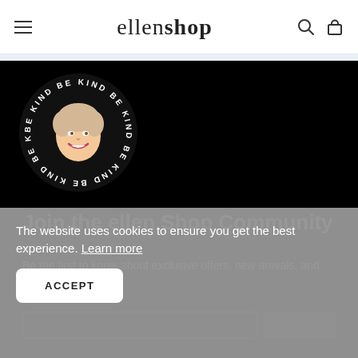ellenshop
[Figure (logo): Circular logo with 'BE KIND' repeated around the circumference and a cartoon illustration of Ellen DeGeneres in the center, on a black background]
Join the ellen Shop Community
Be the first to know about exclusive offers, new arrivals, and much more!
The website uses cookies to ensure you get the best experience. Learn more
ACCEPT